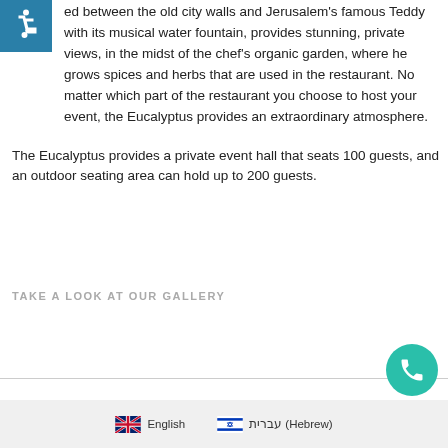[Figure (illustration): Accessibility icon — white wheelchair symbol on teal/blue square background]
ed between the old city walls and Jerusalem's famous Teddy with its musical water fountain, provides stunning, private views, in the midst of the chef's organic garden, where he grows spices and herbs that are used in the restaurant. No matter which part of the restaurant you choose to host your event, the Eucalyptus provides an extraordinary atmosphere.
The Eucalyptus provides a private event hall that seats 100 guests, and an outdoor seating area can hold up to 200 guests.
TAKE A LOOK AT OUR GALLERY
English | עברית (Hebrew)
[Figure (illustration): Teal circular phone/call button in bottom right corner]